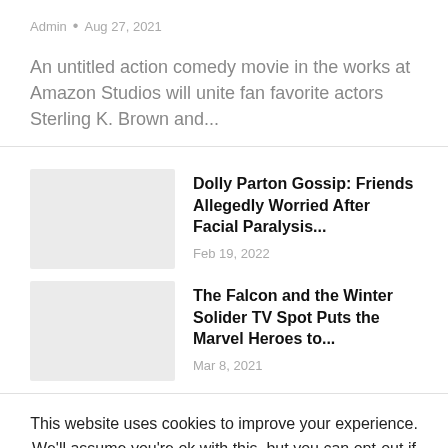Admin • Aug 27, 2021
An untitled action comedy movie in the works at Amazon Studios will unite fan favorite actors Sterling K. Brown and...
Dolly Parton Gossip: Friends Allegedly Worried After Facial Paralysis...
Feb 19, 2022
The Falcon and the Winter Solider TV Spot Puts the Marvel Heroes to...
Mar 8, 2021
This website uses cookies to improve your experience. We'll assume you're ok with this, but you can opt-out if you wish. Cookie settings ACCEPT